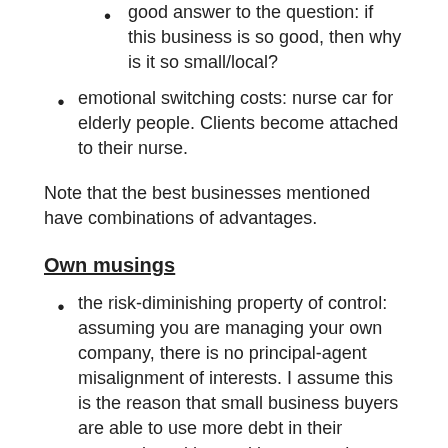good answer to the question: if this business is so good, then why is it so small/local?
emotional switching costs: nurse car for elderly people. Clients become attached to their nurse.
Note that the best businesses mentioned have combinations of advantages.
Own musings
the risk-diminishing property of control: assuming you are managing your own company, there is no principal-agent misalignment of interests. I assume this is the reason that small business buyers are able to use more debt in their transaction without taking on much more risk than public equity investors. Indeed, given some common sense, grave misallocation of